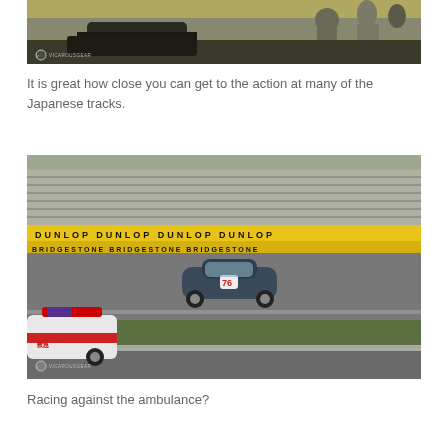[Figure (photo): Close-up photo of cars at a Japanese racing track with spectators visible in the background. A VICAROUSGEAR watermark appears at the bottom left.]
It is great how close you can get to the action at many of the Japanese tracks.
[Figure (photo): Racing photo at a Japanese circuit showing a blue Porsche 911 (number 76) racing on track with Dunlop advertising boards behind the barriers, and a Japanese ambulance/police car in the foreground. VICAROUSGEAR watermark at bottom left.]
Racing against the ambulance?